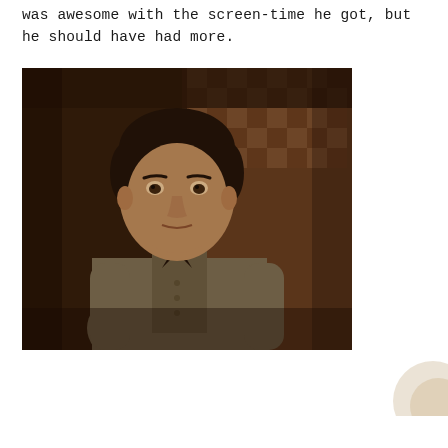was awesome with the screen-time he got, but he should have had more.
[Figure (photo): A man in a khaki/olive button-up shirt standing in front of a checkered curtain in a dimly lit room, looking at the camera with a serious expression.]